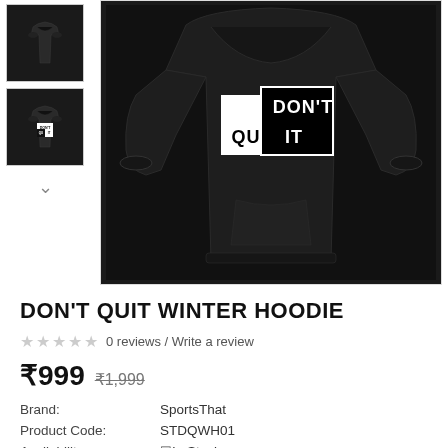[Figure (photo): Small thumbnail of black hoodie without design text visible]
[Figure (photo): Small thumbnail of black hoodie with DON'T QUIT text design]
[Figure (photo): Main large image of black winter hoodie with DON'T QUIT graphic design]
DON'T QUIT WINTER HOODIE
0 reviews / Write a review
₹999  ₹1,999
Brand:  SportsThat
Product Code:  STDQWH01
Availability:  In Stock